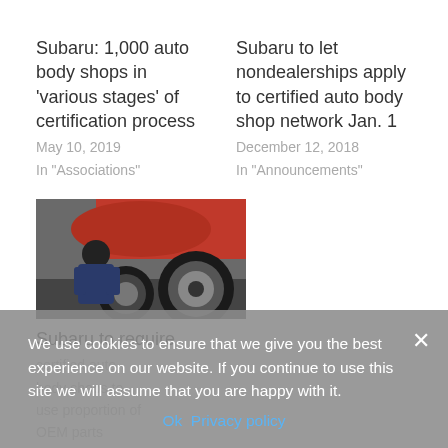Subaru: 1,000 auto body shops in 'various stages' of certification process
May 10, 2019
In "Associations"
Subaru to let nondealerships apply to certified auto body shop network Jan. 1
December 12, 2018
In "Announcements"
[Figure (photo): Photo of a mechanic working on a car tire/wheel, with a red car visible in the background]
Subaru to require certified auto body shops to use proportion of OEM parts
July 5, 2018
We use cookies to ensure that we give you the best experience on our website. If you continue to use this site we will assume that you are happy with it.
Ok  Privacy policy